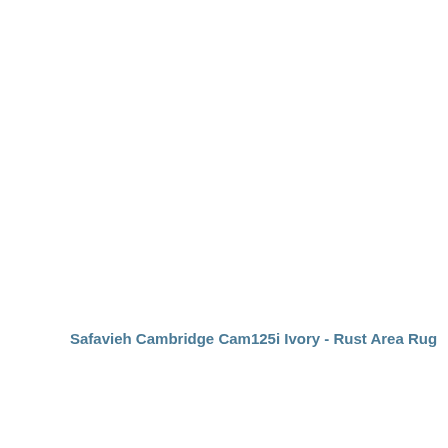Safavieh Cambridge Cam125i Ivory - Rust Area Rug